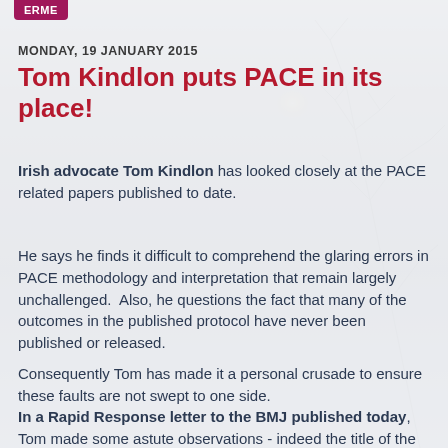ERME
MONDAY, 19 JANUARY 2015
Tom Kindlon puts PACE in its place!
Irish advocate Tom Kindlon has looked closely at the PACE related papers published to date.
He says he finds it difficult to comprehend the glaring errors in PACE methodology and interpretation that remain largely unchallenged.  Also, he questions the fact that many of the outcomes in the published protocol have never been published or released.
Consequently Tom has made it a personal crusade to ensure these faults are not swept to one side.
In a Rapid Response letter to the BMJ published today, Tom made some astute observations - indeed the title of the letter itself tells much: